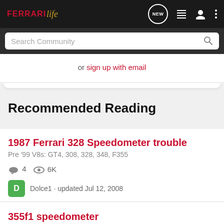Ferrari Life
or sign up with email
Recommended Reading
1987 Ferrari 328 Speedometer trouble
Pre '99 V8s: GT4, 308, 328, 348, F355
4  6K
Dolce1 · updated Jul 12, 2008
355f1 speedometer
Pre '99 V8s: GT4, 308, 328, 348, F355